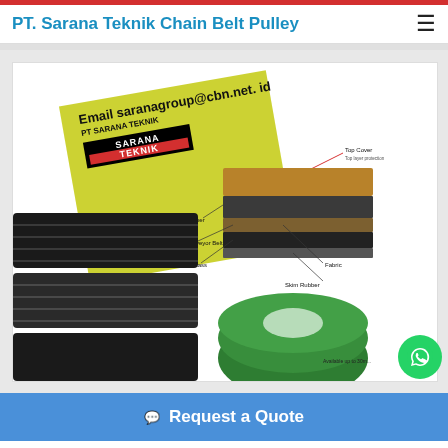PT. Sarana Teknik Chain Belt Pulley
[Figure (photo): Product image showing conveyor belts and rubber belting products with Sarana Teknik logo and email saranagroup@cbn.net.id. Includes diagram labels: Top Cover, Rubber, Conveyor Belt, Fabric, Carcass, Skim Rubber. Black corrugated belt rolls on left, textured belt cross-section in center, green flat belt roll on right.]
Request a Quote